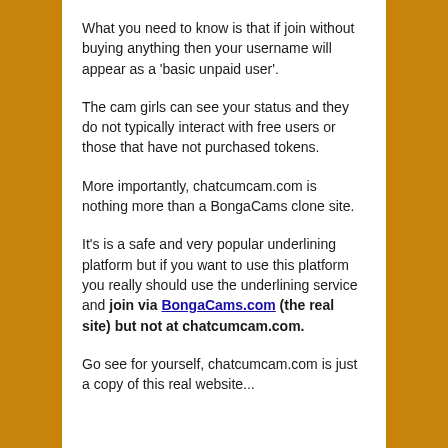What you need to know is that if join without buying anything then your username will appear as a 'basic unpaid user'.
The cam girls can see your status and they do not typically interact with free users or those that have not purchased tokens.
More importantly, chatcumcam.com is nothing more than a BongaCams clone site.
It's is a safe and very popular underlining platform but if you want to use this platform you really should use the underlining service and join via BongaCams.com (the real site) but not at chatcumcam.com.
Go see for yourself, chatcumcam.com is just a copy of this real website...